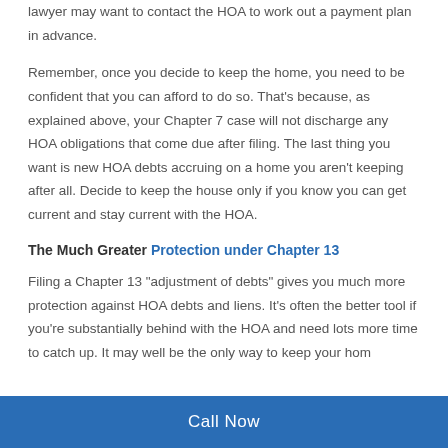lawyer may want to contact the HOA to work out a payment plan in advance.
Remember, once you decide to keep the home, you need to be confident that you can afford to do so. That’s because, as explained above, your Chapter 7 case will not discharge any HOA obligations that come due after filing. The last thing you want is new HOA debts accruing on a home you aren’t keeping after all. Decide to keep the house only if you know you can get current and stay current with the HOA.
The Much Greater Protection under Chapter 13
Filing a Chapter 13 “adjustment of debts” gives you much more protection against HOA debts and liens. It’s often the better tool if you’re substantially behind with the HOA and need lots more time to catch up. It may well be the only way to keep your hom…
Call Now